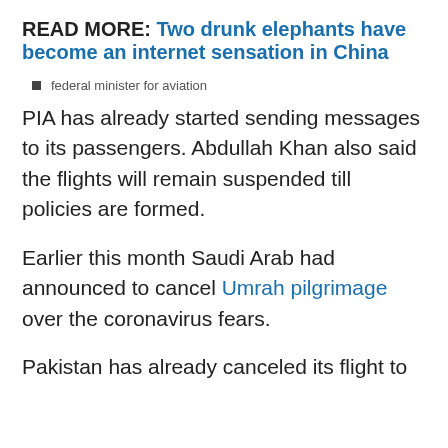READ MORE: Two drunk elephants have become an internet sensation in China
federal minister for aviation
PIA has already started sending messages to its passengers. Abdullah Khan also said the flights will remain suspended till policies are formed.
Earlier this month Saudi Arab had announced to cancel Umrah pilgrimage over the coronavirus fears.
Pakistan has already canceled its flight to